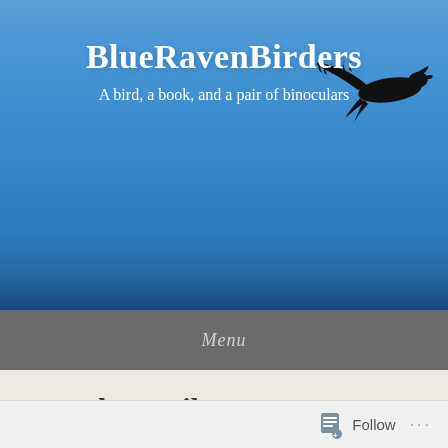[Figure (photo): Blue sky background with a bird silhouette (large bird with outstretched wings) in the upper right corner. Header image for BlueRavenBirders blog.]
BlueRavenBirders
A bird, a book, and a pair of binoculars
Menu
Month: April 2018
Follow ...